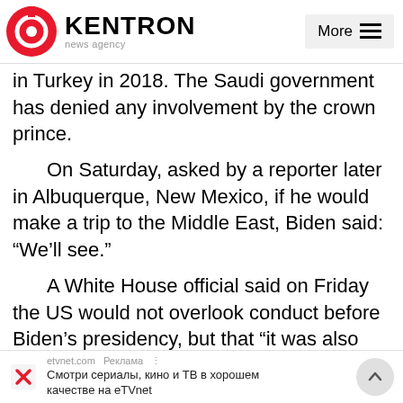KENTRON news agency
in Turkey in 2018. The Saudi government has denied any involvement by the crown prince.
On Saturday, asked by a reporter later in Albuquerque, New Mexico, if he would make a trip to the Middle East, Biden said: “We’ll see.”
A White House official said on Friday the US would not overlook conduct before Biden’s presidency, but that “it was also important to reorient – but not rupture – relations with Saudi Arabia”.
Republicans have called on Biden to increase
etvnet.com Реклама Смотри сериалы, кино и ТВ в хорошем качестве на eTVnet